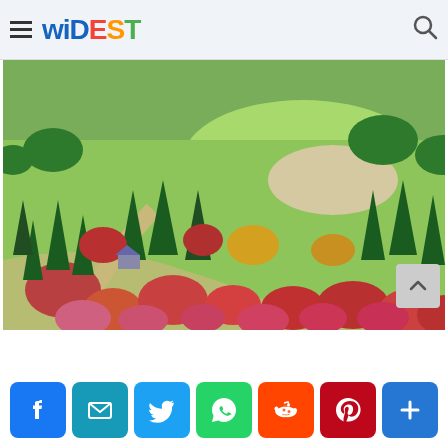WIDEST
[Figure (photo): Aerial view of a colorful garden with autumn-colored trees (red, orange, yellow, green), a sand bunker, paths, and lush green lawn — resembling a golf course or botanical garden from above.]
[Figure (infographic): Social sharing buttons: Facebook (blue), Email/Envelope (teal), Twitter (light blue), WhatsApp (green), Reddit (orange-red), Pinterest (dark red), and a blue share (+) button.]